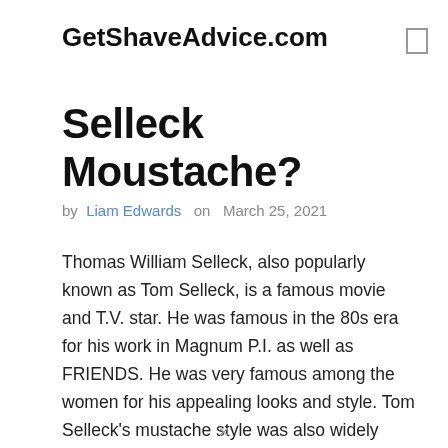GetShaveAdvice.com
Selleck Moustache?
by Liam Edwards on March 25, 2021
Thomas William Selleck, also popularly known as Tom Selleck, is a famous movie and T.V. star. He was famous in the 80s era for his work in Magnum P.I. as well as FRIENDS. He was very famous among the women for his appealing looks and style. Tom Selleck's mustache style was also widely popular among [...]